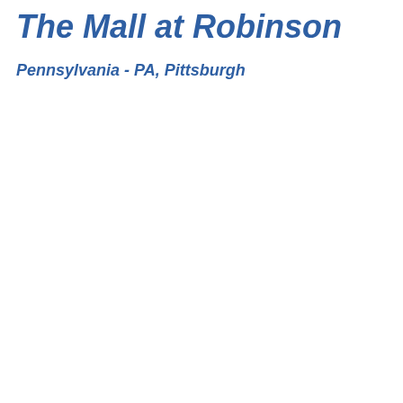The Mall at Robinson
Pennsylvania - PA, Pittsburgh